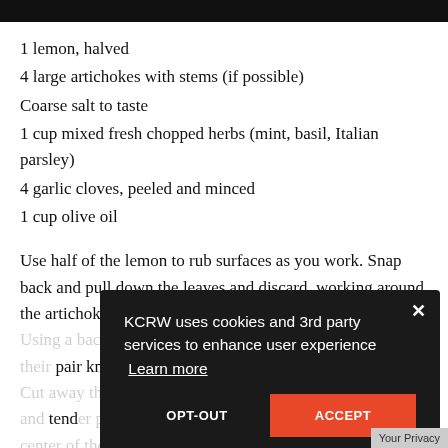1 lemon, halved
4 large artichokes with stems (if possible)
Coarse salt to taste
1 cup mixed fresh chopped herbs (mint, basil, Italian parsley)
4 garlic cloves, peeled and minced
1 cup olive oil
Use half of the lemon to rub surfaces as you work. Snap back and pull down the leaves and discard, working around the artichoke until the pale yellow leav... the ... With their knife, cut awa... the dark green around the base. Cut away the dar... green exterior of the ste... until the pale and tender part is exposed. With a small ... lets the center of the artichoke and remove the fe...